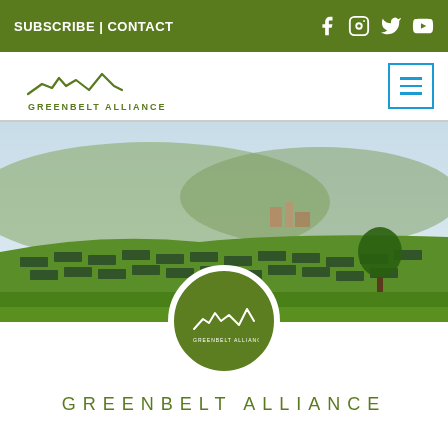SUBSCRIBE | CONTACT
[Figure (logo): Greenbelt Alliance logo with mountain/hill line art and text GREENBELT ALLIANCE]
[Figure (photo): Aerial landscape photo showing green fields with solar panels and mountains in background]
[Figure (logo): Circular Greenbelt Alliance logo badge on white border]
GREENBELT ALLIANCE